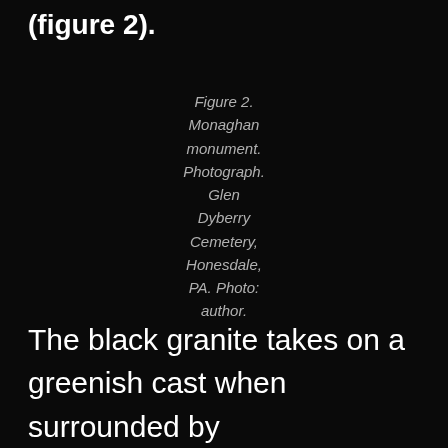(figure 2).
Figure 2. Monaghan monument. Photograph. Glen Dyberry Cemetery, Honesdale, PA. Photo: author.
The black granite takes on a greenish cast when surrounded by